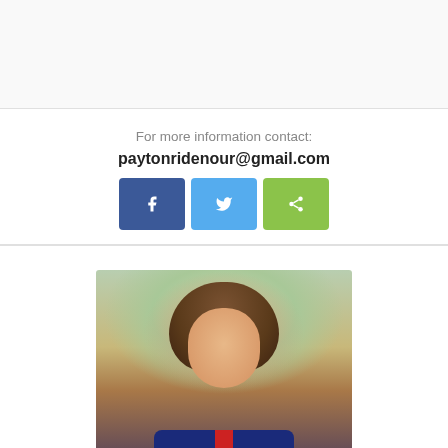For more information contact:
paytonridenour@gmail.com
[Figure (infographic): Three social sharing buttons: Facebook (blue), Twitter (light blue), and a share button (green)]
[Figure (photo): Portrait photo of a young woman with curly brown hair, smiling, wearing a dark blue and red athletic top, outdoors with blurred background]